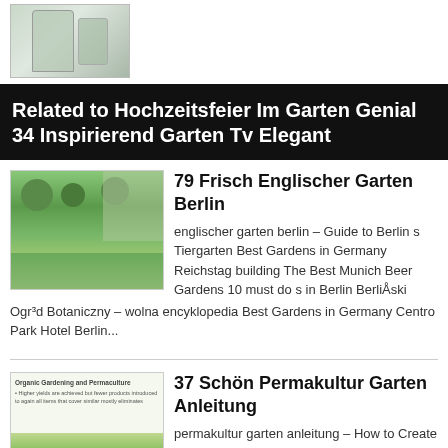[Figure (photo): Partial thumbnail image at top of page, appears to show a glass or fountain object]
Related to Hochzeitsfeier Im Garten Genial 34 Inspirierend Garten Tv Elegant
[Figure (photo): Photo of an English garden in Berlin with trimmed round bushes and green lawns]
79 Frisch Englischer Garten Berlin
englischer garten berlin – Guide to Berlin s Tiergarten Best Gardens in Germany Reichstag building The Best Munich Beer Gardens 10 must do s in Berlin BerliÅski Ogr³d Botaniczny – wolna encyklopedia Best Gardens in Germany Centro Park Hotel Berlin...
[Figure (illustration): Thumbnail showing Organic Gardening and Permaculture illustrated book/guide cover with colorful garden illustration]
37 Schön Permakultur Garten Anleitung
permakultur garten anleitung – How to Create a Permaculture Garden 10 Steps with Unser Erdheerturm 34 Easy DIY